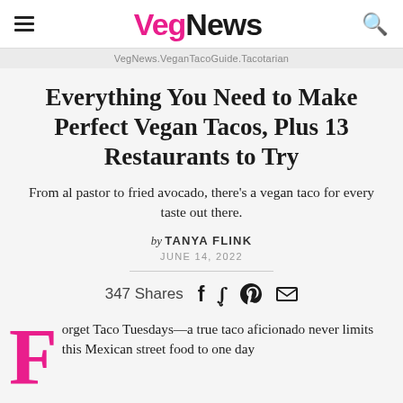VegNews
VegNews.VeganTacoGuide.Tacotarian
Everything You Need to Make Perfect Vegan Tacos, Plus 13 Restaurants to Try
From al pastor to fried avocado, there's a vegan taco for every taste out there.
by TANYA FLINK
JUNE 14, 2022
347 Shares
Forget Taco Tuesdays—a true taco aficionado never limits this Mexican street food to one day